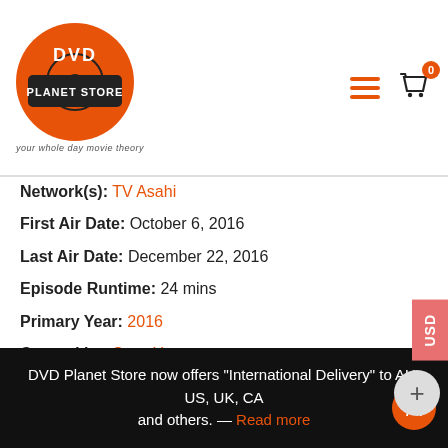[Figure (logo): DVD Planet Store logo — orange disc with 'DVD' text and 'PLANET STORE' banner, tagline 'your whole day movie theory']
Network(s): TV Asahi
First Air Date: October 6, 2016
Last Air Date: December 22, 2016
Episode Runtime: 24 mins
Primary Year: 2016
Created by: Sayo Yamamoto
Genres: Animation, Comedy, Drama
IMDB Link: tt6112556
Production Companies: MAPPA
Spoken Language(s): Japanese
Origin Countries: Japan
DVD Planet Store now offers "International Delivery" to AU, US, UK, CA and others. — Read more